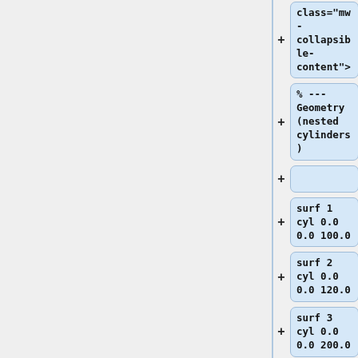[Figure (flowchart): A vertical flowchart showing code nodes for a nested cylinders geometry setup. Nodes include class='mw-collapsible-content'>, % --- Geometry (nested cylinders), an empty node, surf 1 cyl 0.0 0.0 100.0, surf 2 cyl 0.0 0.0 120.0, surf 3 cyl 0.0 0.0 200.0, surf 4 cyl 0.0 0.0 300.0, surf 5 sqc 0.0 0.0 400.0, each preceded by a plus sign connector.]